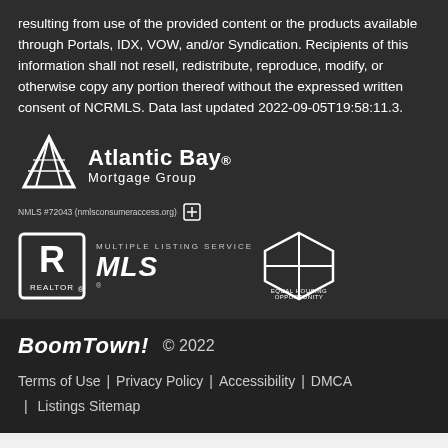resulting from use of the provided content or the products available through Portals, IDX, VOW, and/or Syndication. Recipients of this information shall not resell, redistribute, reproduce, modify, or otherwise copy any portion thereof without the expressed written consent of NCRMLS. Data last updated 2022-09-05T19:58:11.3.
[Figure (logo): Atlantic Bay Mortgage Group logo with NMLS #72043 disclaimer and Equal Housing Lender icon]
[Figure (logo): Realtor logo, Multiple Listing Service MLS logo, Equal Housing Opportunity logo]
BoomTown! © 2022
Terms of Use | Privacy Policy | Accessibility | DMCA | Listings Sitemap
Take a Tour
Ask A Question